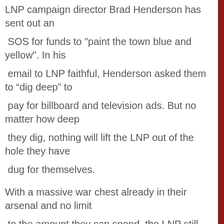LNP campaign director Brad Henderson has sent out an
SOS for funds to "paint the town blue and yellow". In his
email to LNP faithful, Henderson asked them to “dig deep” to
pay for billboard and television ads. But no matter how deep
they dig, nothing will lift the LNP out of the hole they have
dug for themselves.
With a massive war chest already in their arsenal and no limit
to the amount they can spend, the LNP still want more
We are suffering a vast taxpayer funded advertising
campaign under the wrapper of ‘government information’ and